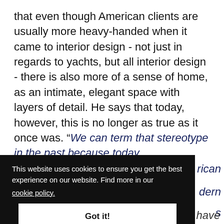that even though American clients are usually more heavy-handed when it came to interior design - not just in regards to yachts, but all interior design - there is also more of a sense of home, as an intimate, elegant space with layers of detail. He says that today, however, this is no longer as true as it once was. “We can term that stereotype in the past because today
[Figure (screenshot): Cookie consent banner overlay with dark background, text reading 'This website uses cookies to ensure you get the best experience on our website. Find more in our cookie policy.' and a white 'Got it!' button. Behind it, partially visible italic text in dark blue.]
together a bit closely, and Americans have